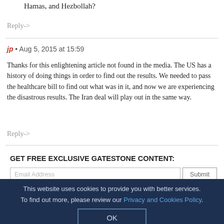Hamas, and Hezbollah?
Reply->
jp • Aug 5, 2015 at 15:59
Thanks for this enlightening article not found in the media. The US has a history of doing things in order to find out the results. We needed to pass the healthcare bill to find out what was in it, and now we are experiencing the disastrous results. The Iran deal will play out in the same way.
Reply->
GET FREE EXCLUSIVE GATESTONE CONTENT:
This website uses cookies to provide you with better services. To find out more, please review our Privacy and Cookies Policy.
OK
Most Popular
Newest
Biden Admin's Appeasement of Mullahs Risking